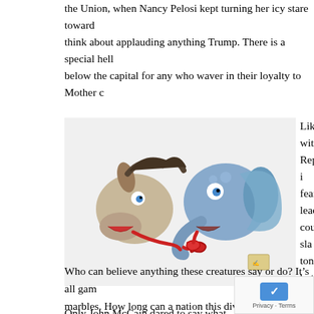the Union, when Nancy Pelosi kept turning her icy stare toward think about applauding anything Trump. There is a special hell below the capital for any who waver in their loyalty to Mother c
[Figure (illustration): A political cartoon showing a donkey (Democratic symbol) and an elephant (Republican symbol) facing each other with their tongues tied in a knot, both looking distressed.]
Likewise with Republican in fearless leade country” slan tongue, but le indeed been s shred of integ droves, leavin the radical rig
Who can believe anything these creatures say or do? It’s all gam marbles. How long can a nation this divided last before it begins
Only John McCain dared to say what many believe: